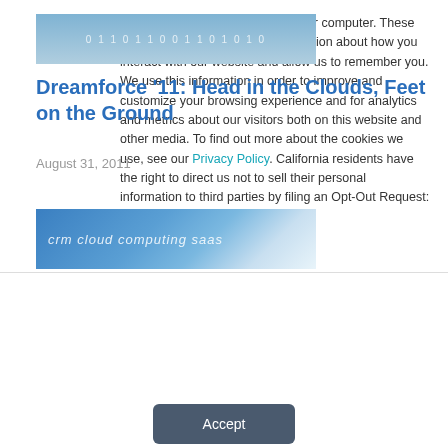[Figure (illustration): Blue banner with binary digits 0 and 1 repeating as text overlay on gradient blue background]
Dreamforce '11: Head in the Clouds, Feet on the Ground
August 31, 2011
[Figure (illustration): Blue gradient banner with italic text 'crm cloud computing saas' in white/light color]
This website stores cookies on your computer. These cookies are used to collect information about how you interact with our website and allow us to remember you. We use this information in order to improve and customize your browsing experience and for analytics and metrics about our visitors both on this website and other media. To find out more about the cookies we use, see our Privacy Policy. California residents have the right to direct us not to sell their personal information to third parties by filing an Opt-Out Request: Do Not Sell My Personal Info.